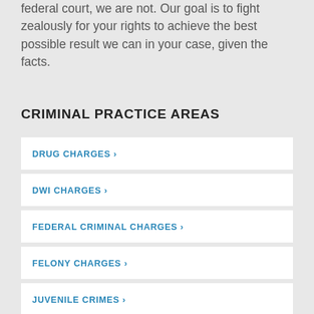federal court, we are not. Our goal is to fight zealously for your rights to achieve the best possible result we can in your case, given the facts.
CRIMINAL PRACTICE AREAS
DRUG CHARGES >
DWI CHARGES >
FEDERAL CRIMINAL CHARGES >
FELONY CHARGES >
JUVENILE CRIMES >